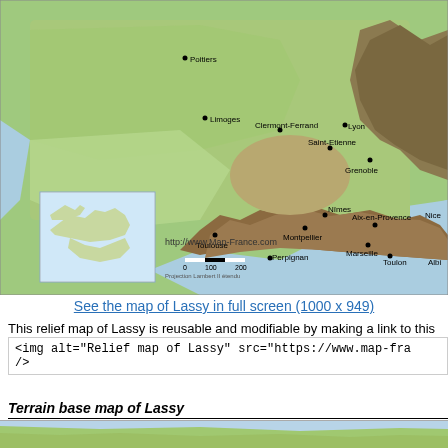[Figure (map): Relief map of Lassy, France showing topographic features including the Pyrenees mountains, French cities such as Bordeaux, Toulouse, Lyon, Grenoble, Marseille, Montpellier, Saint-Etienne, Clermont-Ferrand, Poitiers, and the Mediterranean coast. Includes a small inset map of Europe and a scale bar. Credit: http://www.Map-France.com]
See the map of Lassy in full screen (1000 x 949)
This relief map of Lassy is reusable and modifiable by making a link to this page of
<img alt="Relief map of Lassy" src="https://www.map-fra
/>
Terrain base map of Lassy
[Figure (map): Terrain base map of Lassy, partial view showing topographic terrain features]